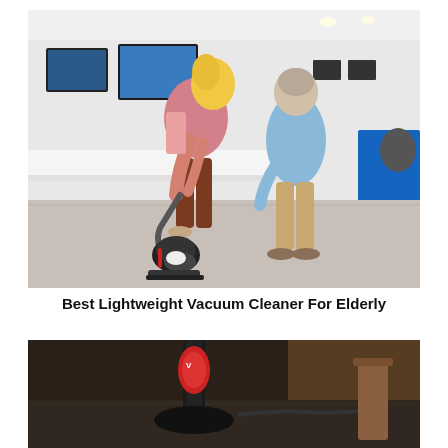[Figure (photo): An elderly couple in a bright electronics showroom. A woman in a pink cardigan and rust-colored pants bends over operating a black and red canister vacuum cleaner on a light floor. An older man in a light blue shirt leans forward watching. Large flat-screen TVs are mounted on the wall in the background.]
Best Lightweight Vacuum Cleaner For Elderly
[Figure (photo): Close-up ground-level view of a vacuum cleaner with a red/black logo being used on a carpeted or hard floor, with a wooden furniture piece partially visible in the blurred background.]